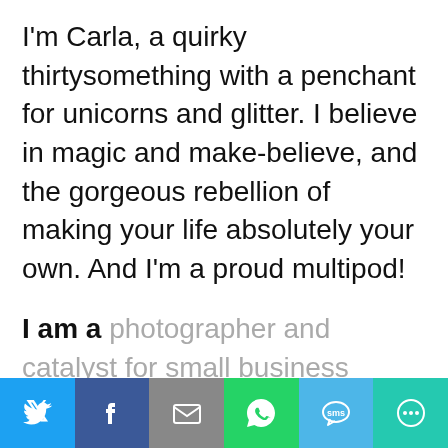I'm Carla, a quirky thirtysomething with a penchant for unicorns and glitter. I believe in magic and make-believe, and the gorgeous rebellion of making your life absolutely your own. And I'm a proud multipod!
I am a photographer and catalyst for small business owners, and a real life mermaid. I photograph people as they truly are, help women see and step into their brightest and best selves, add a
[Figure (other): Social sharing bar with icons for Twitter, Facebook, Email, WhatsApp, SMS, and More]